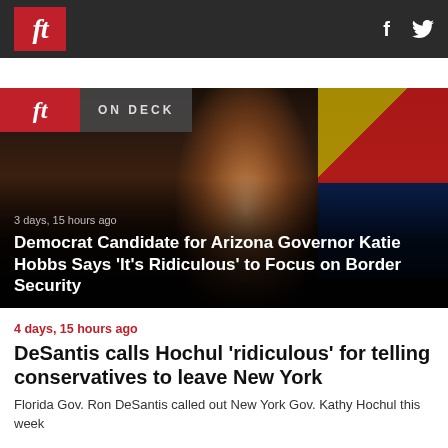ft | f [Facebook] [Twitter]
[Figure (photo): Photo of Democrat candidate for Arizona Governor Katie Hobbs speaking at a podium, with Arizona and other flags visible in the background. Overlaid with ON DECK logo bar, timestamp '3 days, 15 hours ago', and headline.]
Democrat Candidate for Arizona Governor Katie Hobbs Says ‘It’s Ridiculous’ to Focus on Border Security
4 days, 15 hours ago
DeSantis calls Hochul ‘ridiculous’ for telling conservatives to leave New York
Florida Gov. Ron DeSantis called out New York Gov. Kathy Hochul this week